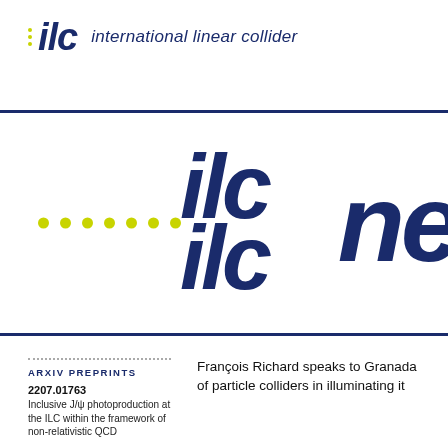[Figure (logo): ILC (International Linear Collider) logo with italic bold ilc text and tagline 'international linear collider' in dark navy blue, with yellow-green dots]
[Figure (logo): Large ILC newsletter banner with big italic bold 'ilc' letters stacked vertically, yellow-green dots row, and partial 'ne' text cut off on right, navy blue on white, framed by dark navy horizontal rules]
ARXIV PREPRINTS
2207.01763
Inclusive J/ψ photoproduction at the ILC within the framework of non-relativistic QCD
François Richard speaks to Granada of particle colliders in illuminating it